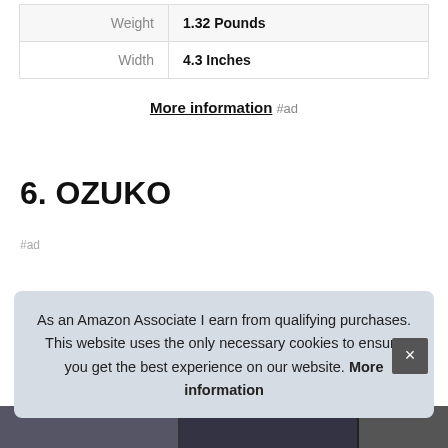| Weight | 1.32 Pounds |
| Width | 4.3 Inches |
More information #ad
6. OZUKO
#ad
As an Amazon Associate I earn from qualifying purchases. This website uses the only necessary cookies to ensure you get the best experience on our website. More information